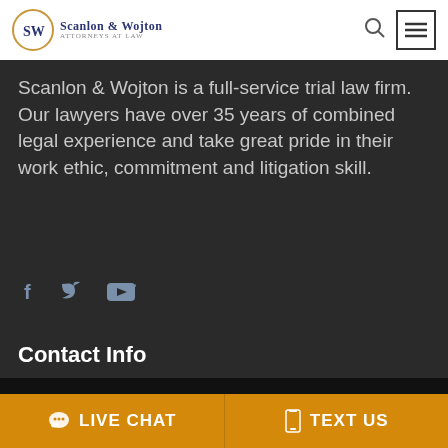Scanlon & Wojton Attorneys at Law
Scanlon & Wojton is a full-service trial law firm. Our lawyers have over 35 years of combined legal experience and take great pride in their work ethic, commitment and litigation skill.
[Figure (infographic): Social media icons: Facebook, Twitter, YouTube]
Contact Info
We are using cookies to give you the best experience. You can find out more about which cookies we are using or switch them off via Cookie Settings Window.
LIVE CHAT   TEXT US